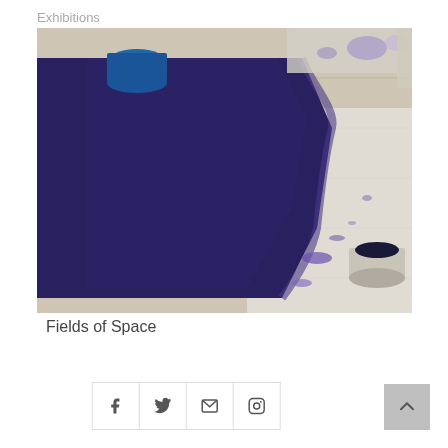Exhibitions
[Figure (photo): An artist studio floor showing a large canvas or surface covered with deep indigo/violet pigment on the left half, with scattered paint residue and containers visible on the right side of the wooden floor.]
Fields of Space
[Figure (other): Social media sharing buttons: Facebook, Twitter, Email, Instagram icons in a horizontal row with borders, and a scroll-to-top button.]